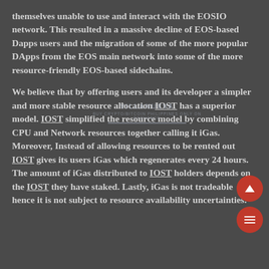themselves unable to use and interact with the EOSIO network. This resulted in a massive decline of EOS-based Dapps users and the migration of some of the more popular DApps from the EOS main network into some of the more resource-friendly EOS-based sidechains.

We believe that by offering users and its developer a simpler and more stable resource allocation IOST has a superior model. IOST simplified the resource model by combining CPU and Network resources together calling it iGas. Moreover, Instead of allowing resources to be rented out IOST gives its users iGas which regenerates every 24 hours. The amount of iGas distributed to IOST holders depends on the IOST they have staked. Lastly, iGas is not tradeable hence it is not subject to resource availability uncertainties.